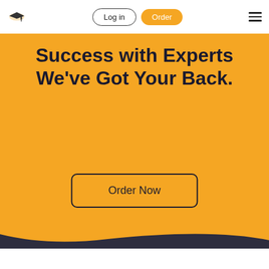[Figure (logo): Graduation cap logo icon with small text]
Log in
Order
[Figure (illustration): Hamburger menu icon (three horizontal lines)]
Success with Experts We’ve Got Your Back.
Order Now